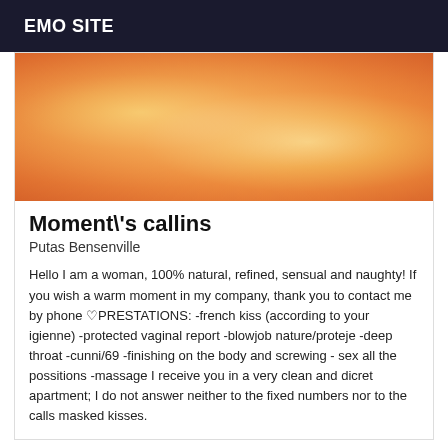EMO SITE
[Figure (photo): Close-up photo used in personal listing]
Moment\'s callins
Putas Bensenville
Hello I am a woman, 100% natural, refined, sensual and naughty! If you wish a warm moment in my company, thank you to contact me by phone ♡PRESTATIONS: -french kiss (according to your igienne) -protected vaginal report -blowjob nature/proteje -deep throat -cunni/69 -finishing on the body and screwing - sex all the possitions -massage I receive you in a very clean and dicret apartment; I do not answer neither to the fixed numbers nor to the calls masked kisses.